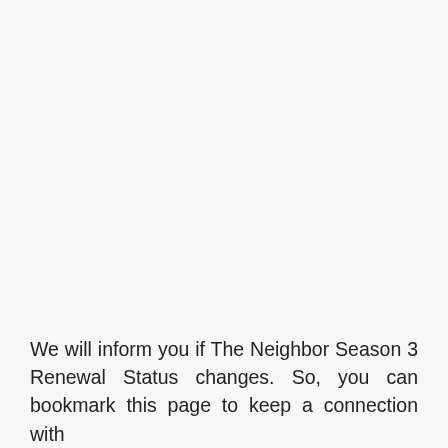We will inform you if The Neighbor Season 3 Renewal Status changes. So, you can bookmark this page to keep a connection with